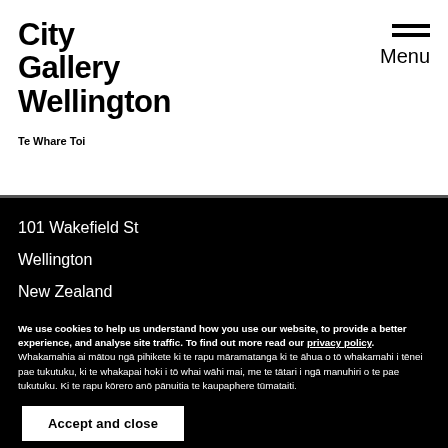City Gallery Wellington Te Whare Toi
Menu
101 Wakefield St
Wellington
New Zealand
We use cookies to help us understand how you use our website, to provide a better experience, and analyse site traffic. To find out more read our privacy policy. Whakamahia ai mātou ngā pihikete ki te rapu māramatanga ki te āhua o tō whakamahi i tēnei pae tukutuku, ki te whakapai hoki i tō whai wāhi mai, me te tātari i ngā manuhiri o te pae tukutuku. Ki te rapu kōrero anō pānuitia te kaupaphere tūmataiti.
Accept and close